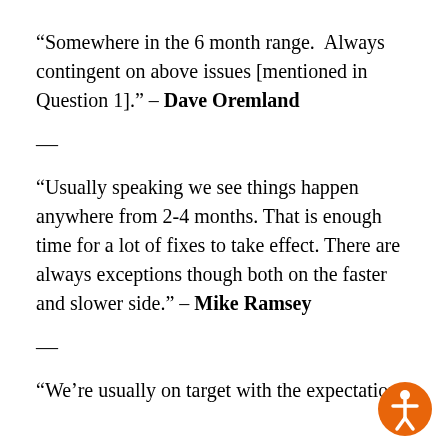“Somewhere in the 6 month range.  Always contingent on above issues [mentioned in Question 1].” – Dave Oremland
—
“Usually speaking we see things happen anywhere from 2-4 months. That is enough time for a lot of fixes to take effect. There are always exceptions though both on the faster and slower side.” – Mike Ramsey
—
“We’re usually on target with the expectations